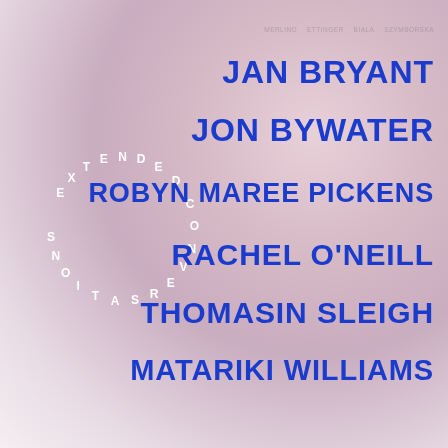[Figure (illustration): Circular text arrangement reading 'EXTENDED CONVERSATIONS' in white letters arranged in a circle on a pink/mauve gradient background]
JAN BRYANT
JON BYWATER
ROBYN MAREE PICKENS
RACHEL O'NEILL
THOMASIN SLEIGH
MATARIKI WILLIAMS